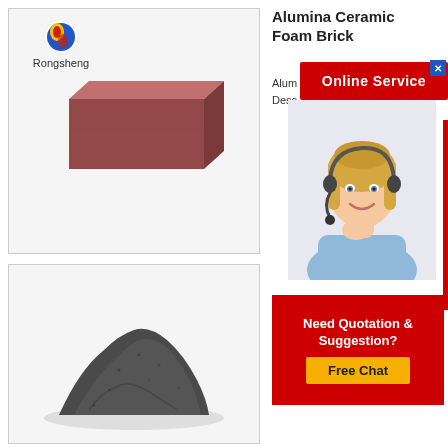[Figure (photo): Rongsheng logo with a round blue/yellow/red globe icon above the text 'Rongsheng']
[Figure (photo): A reddish-brown ceramic foam brick, rectangular block, shown on white/grey background inside a bordered box]
Alumina Ceramic Foam Brick
Alum...
Desc...
[Figure (infographic): Online Service banner in red with white bold text 'Online Service', overlaid on a customer service representative photo (blonde woman with headset smiling), with a close button (X) in blue, red side stripe on the right, and a red panel below with text 'Need Quotation & Suggestion?' and a yellow 'Free Chat' button]
[Figure (photo): A pile of dark grey/black powder (alumina ceramic foam powder) on a white background, inside a bordered box]